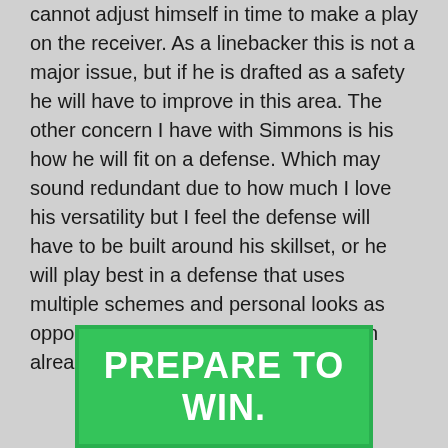cannot adjust himself in time to make a play on the receiver. As a linebacker this is not a major issue, but if he is drafted as a safety he will have to improve in this area. The other concern I have with Simmons is his how he will fit on a defense. Which may sound redundant due to how much I love his versatility but I feel the defense will have to be built around his skillset, or he will play best in a defense that uses multiple schemes and personal looks as opposed to him sliding into a role on an already formatted defense.
[Figure (other): Green banner with bold white text reading 'PREPARE TO WIN.']